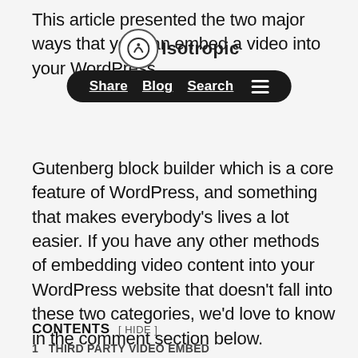This article presented the two major ways that you can embed a video into your WordPress...
[Figure (screenshot): Website navigation overlay showing Isotropic logo with a circle icon, and a dark pill-shaped nav bar with links: Share, Blog, Search, and a hamburger menu icon]
Gutenberg block builder which is a core feature of WordPress, and something that makes everybody's lives a lot easier. If you have any other methods of embedding video content into your WordPress website that doesn't fall into these two categories, we'd love to know in the comment section below.
ADVERTISEMENT
CONTENTS  [ HIDE ]
1  THIRD PARTY VIDEO EMBED